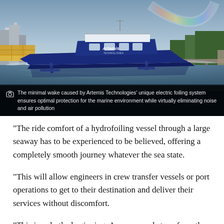[Figure (photo): A blue Artemis Technologies hydrofoiling electric vessel gliding on water with a rainbow visible in the background. Industrial port structures visible on the left, green trees on the right.]
The minimal wake caused by Artemis Technologies' unique electric foiling system ensures optimal protection for the marine environment while virtually eliminating noise and air pollution
“The ride comfort of a hydrofoiling vessel through a large seaway has to be experienced to be believed, offering a completely smooth journey whatever the sea state.
“This will allow engineers in crew transfer vessels or port operations to get to their destination and deliver their services without discomfort.
“This is only the beginning. As our vessels transform the